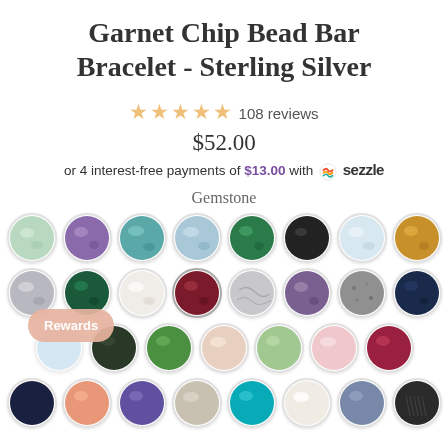Garnet Chip Bead Bar Bracelet - Sterling Silver
★★★★★ 108 reviews
$52.00
or 4 interest-free payments of $13.00 with ⚡ sezzle
Gemstone
[Figure (illustration): Grid of gemstone chip bead circles in various colors representing gemstone options for the bracelet. Rows include: green/mint, purple amethyst, teal, blue, green, black, light blue, gold/amber; grey, dark green, white pearl, dark red/garnet, grey marble, purple, speckled grey, dark navy; light blue, dark green/black, green, peach/blush, light green, pink, dark pink/raspberry; dark navy, peach/salmon, purple, beige/grey, teal/turquoise, white/cream, blue/grey, black/dark.]
Rewards